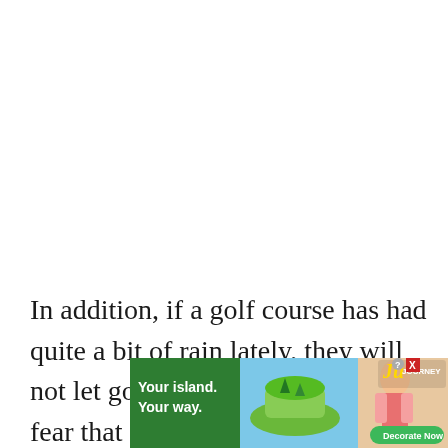In addition, if a golf course has had quite a bit of rain lately, they will not let golfers play the course for fear that damage can occur.
[Figure (illustration): Mobile game advertisement banner for 'Ju Journey' showing a green island game scene with a female character, text 'Your island. Your way.' on green background, and a 'Decorate Now' button.]